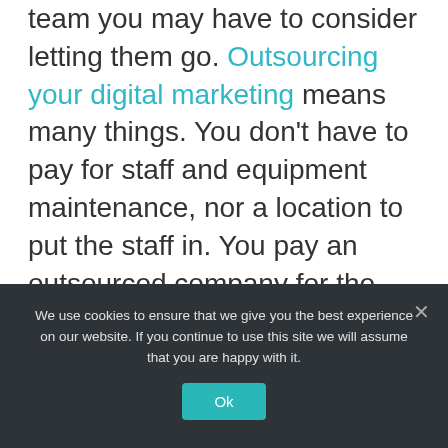team you may have to consider letting them go. Outsourcing your digital marketing means many things. You don't have to pay for staff and equipment maintenance, nor a location to put the staff in. You pay an outsourced company for the work, not the staff. Are in-house staff more expensive? Yes, generally. If they are
We use cookies to ensure that we give you the best experience on our website. If you continue to use this site we will assume that you are happy with it.